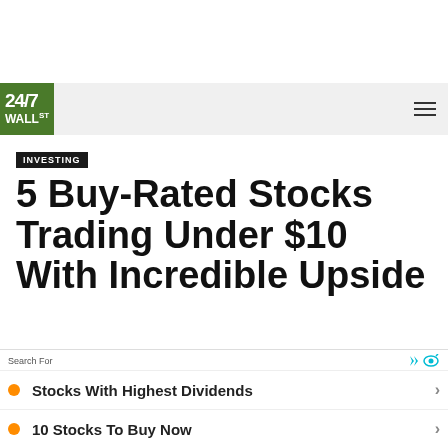[Figure (logo): 24/7 Wall St. logo — green square with white bold text '24/7' and 'WALL ST']
INVESTING
5 Buy-Rated Stocks Trading Under $10 With Incredible Upside
Search For
Stocks With Highest Dividends
10 Stocks To Buy Now